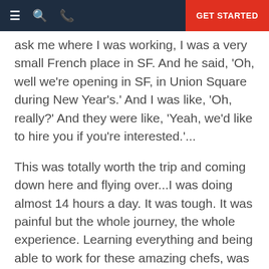GET STARTED
ask me where I was working, I was a very small French place in SF. And he said, 'Oh, well we’re opening in SF, in Union Square during New Year’s.’ And I was like, ‘Oh, really?’ And they were like, ‘Yeah, we’d like to hire you if you’re interested.’...
This was totally worth the trip and coming down here and flying over...I was doing almost 14 hours a day. It was tough. It was painful but the whole journey, the whole experience. Learning everything and being able to work for these amazing chefs, was totally worth it... It’s been very eye-opening, and this has really given me a huge confidence boost.” We’ll have the full scoop in an upcoming issue of the newsletter, (so subscribe)!